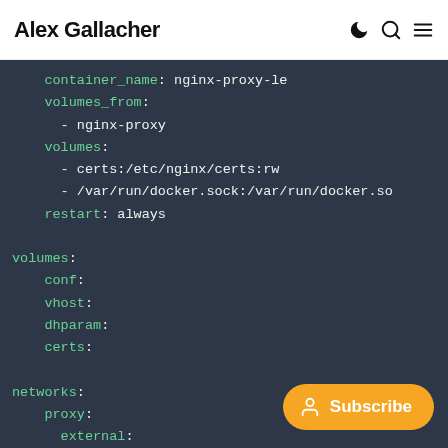Alex Gallacher
container_name: nginx-proxy-le
    volumes_from:
      - nginx-proxy
    volumes:
      - certs:/etc/nginx/certs:rw
      - /var/run/docker.sock:/var/run/docker.so
    restart: always

volumes:
    conf:
    vhost:
    dhparam:
    certs:

networks:
    proxy:
      external: